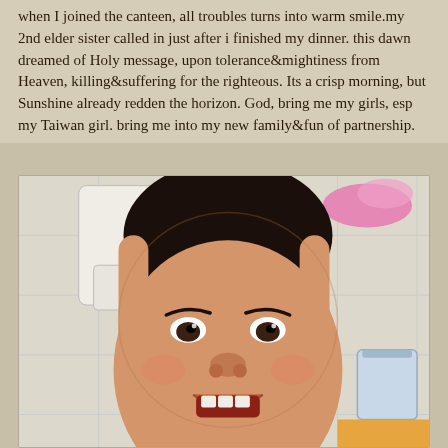when I joined the canteen, all troubles turns into warm smile.my 2nd elder sister called in just after i finished my dinner. this dawn dreamed of Holy message, upon tolerance&mightiness from Heaven, killing&suffering for the righteous. Its a crisp morning, but Sunshine already redden the horizon. God, bring me my girls, esp my Taiwan girl. bring me into my new family&fun of partnership.
[Figure (photo): A young Asian child with spiky dark hair, smiling with mouth open, photographed in a bathroom setting with a toilet and bucket visible in the background.]